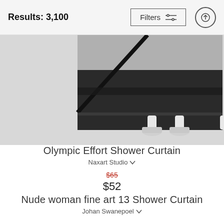Results: 3,100
[Figure (photo): Partial view of Olympic Effort Shower Curtain product image — dark black curtain with diagonal stripe on a curtain rod with white brackets, shown against a gray background]
Olympic Effort Shower Curtain
Naxart Studio
$65 (strikethrough) $52
Nude woman fine art 13 Shower Curtain
Johan Swanepoel